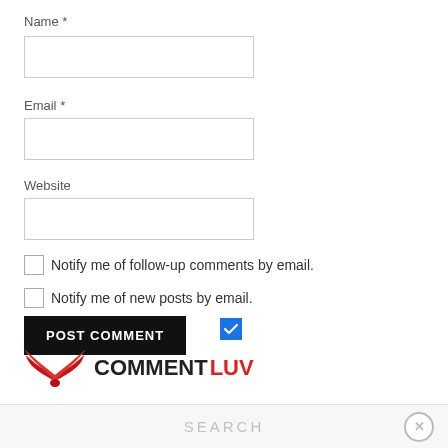Name *
[Figure (screenshot): Empty text input field for Name]
Email *
[Figure (screenshot): Empty text input field for Email]
Website
[Figure (screenshot): Empty text input field for Website]
Notify me of follow-up comments by email.
Notify me of new posts by email.
[Figure (screenshot): POST COMMENT button, black background white text]
[Figure (logo): CommentLuv logo with red bird wings and COMMENT in dark, LUV in red]
SEARCH